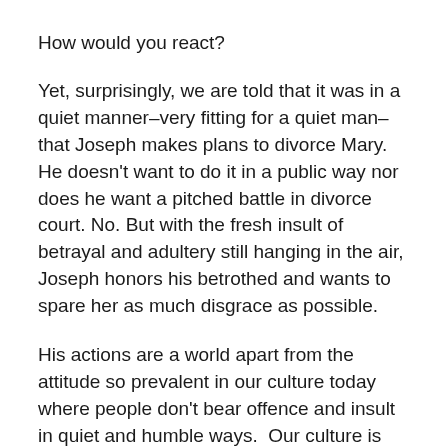How would you react?
Yet, surprisingly, we are told that it was in a quiet manner–very fitting for a quiet man–that Joseph makes plans to divorce Mary. He doesn't want to do it in a public way nor does he want a pitched battle in divorce court. No. But with the fresh insult of betrayal and adultery still hanging in the air, Joseph honors his betrothed and wants to spare her as much disgrace as possible.
His actions are a world apart from the attitude so prevalent in our culture today where people don't bear offence and insult in quiet and humble ways.  Our culture is more concerned